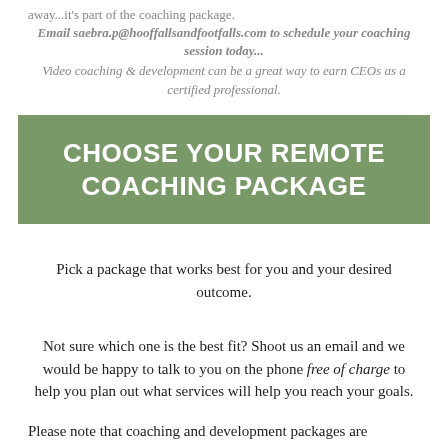away...it's part of the coaching package.
Email saebra.p@hooffallsandfootfalls.com to schedule your coaching session today...
Video coaching & development can be a great way to earn CEOs as a certified professional.
CHOOSE YOUR REMOTE COACHING PACKAGE
Pick a package that works best for you and your desired outcome.
Not sure which one is the best fit? Shoot us an email and we would be happy to talk to you on the phone free of charge to help you plan out what services will help you reach your goals.
Please note that coaching and development packages are